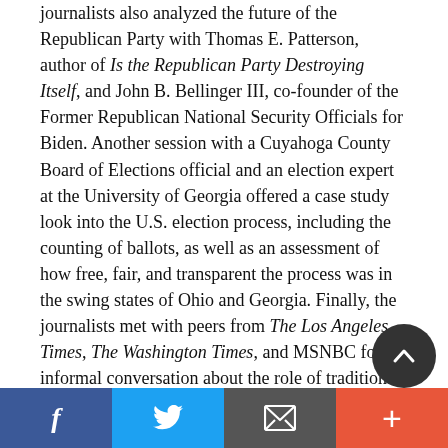journalists also analyzed the future of the Republican Party with Thomas E. Patterson, author of Is the Republican Party Destroying Itself, and John B. Bellinger III, co-founder of the Former Republican National Security Officials for Biden. Another session with a Cuyahoga County Board of Elections official and an election expert at the University of Georgia offered a case study look into the U.S. election process, including the counting of ballots, as well as an assessment of how free, fair, and transparent the process was in the swing states of Ohio and Georgia. Finally, the journalists met with peers from The Los Angeles Times, The Washington Times, and MSNBC for an informal conversation about the role of traditional and social media in the 2020 elections.
The USPres Seminar was funded by the East-West Center and seven U.S. Embassies in Bangladesh, India, Nigeria, Pakistan, South Africa, Thailand, and the United Kingdom, and resulted in 90 stories contributed to, produced
Facebook | Twitter | Email | +